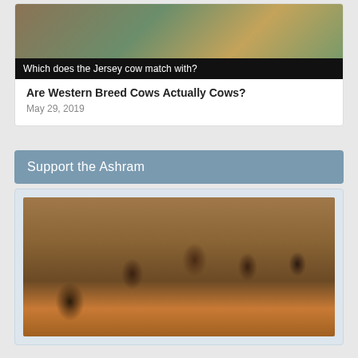[Figure (photo): Image of cows with black banner overlay asking 'Which does the Jersey cow match with?']
Which does the Jersey cow match with?
Are Western Breed Cows Actually Cows?
May 29, 2019
Support the Ashram
[Figure (photo): Photo of Indian children sitting on the ground eating food, appears to be at an outdoor gathering or meal service at an ashram]